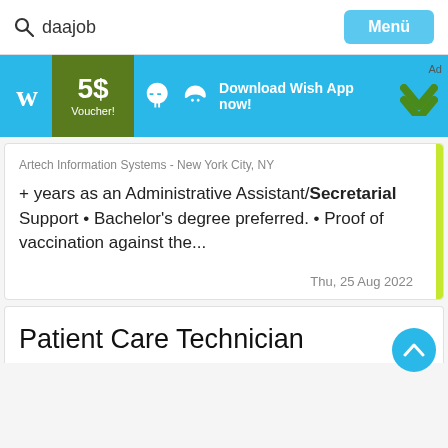daajob   Menü
[Figure (screenshot): Wish app advertisement banner: Wish logo, 5$ Voucher!, Android and Apple icons, Download Wish App now!, Ad chevron badge]
Artech Information Systems - New York City, NY
+ years as an Administrative Assistant/Secretarial Support • Bachelor's degree preferred. • Proof of vaccination against the...
Thu, 25 Aug 2022
Patient Care Technician